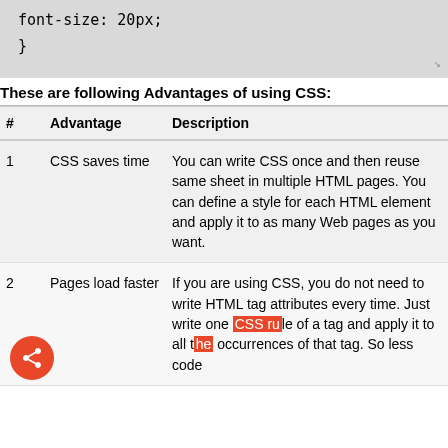font-size: 20px;
}
These are following Advantages of using CSS:
| # | Advantage | Description |
| --- | --- | --- |
| 1 | CSS saves time | You can write CSS once and then reuse same sheet in multiple HTML pages. You can define a style for each HTML element and apply it to as many Web pages as you want. |
| 2 | Pages load faster | If you are using CSS, you do not need to write HTML tag attributes every time. Just write one CSS rule of a tag and apply it to all the occurrences of that tag. So less code |